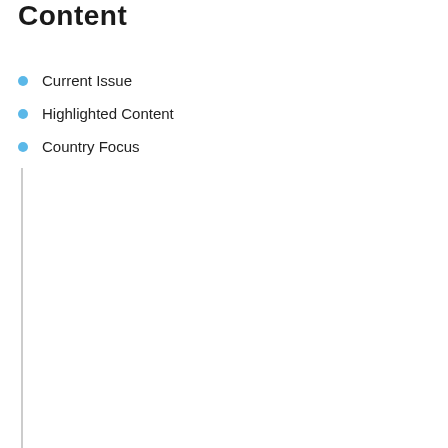Content
Current Issue
Highlighted Content
Country Focus